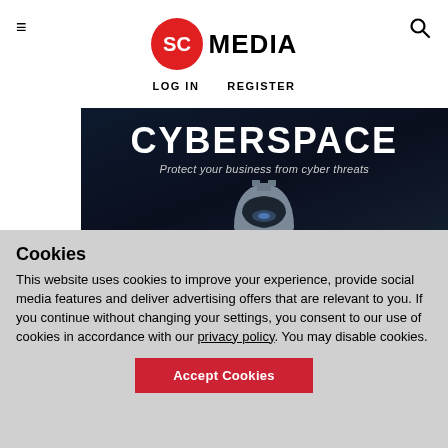SC MEDIA — LOG IN  REGISTER
[Figure (illustration): Dark banner with 'CYBERSPACE' text, subtitle 'Protect your business from cyber threats', and a metallic robot/armor illustration at the bottom]
Cookies
This website uses cookies to improve your experience, provide social media features and deliver advertising offers that are relevant to you. If you continue without changing your settings, you consent to our use of cookies in accordance with our privacy policy. You may disable cookies.
Accept Cookies